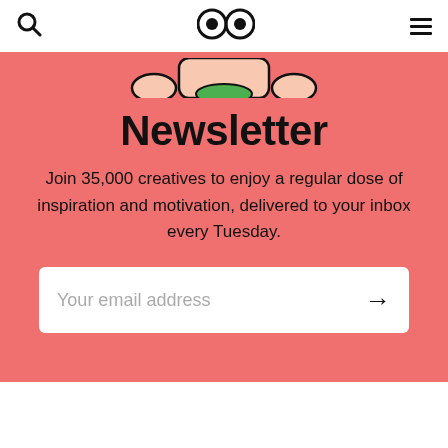Search | Logo (eyes icon) | Menu
[Figure (illustration): Partial view of a cartoon character with big round eyes and a green mouth, shown from the top of the pink section]
Newsletter
Join 35,000 creatives to enjoy a regular dose of inspiration and motivation, delivered to your inbox every Tuesday.
Your email address →